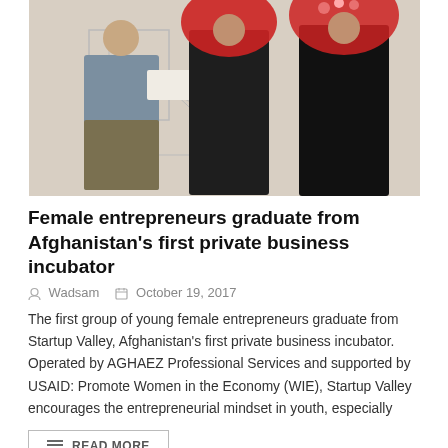[Figure (photo): A man in a blue shirt and olive trousers handing a certificate to a woman in a black outfit and red floral headscarf, with another woman in a red headscarf standing to the right, in front of a white wall with architectural drawings.]
Female entrepreneurs graduate from Afghanistan's first private business incubator
Wadsam   October 19, 2017
The first group of young female entrepreneurs graduate from Startup Valley, Afghanistan's first private business incubator. Operated by AGHAEZ Professional Services and supported by USAID: Promote Women in the Economy (WIE), Startup Valley encourages the entrepreneurial mindset in youth, especially
READ MORE
[Figure (logo): UN or international organization logo in teal/blue color showing laurel wreath design with a globe and wheat/leaf elements]